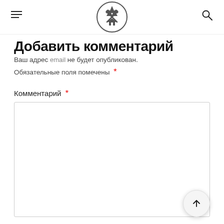[logo] hamburger menu, site logo (cabin/forest icon), search icon
Добавить комментарий
Ваш адрес email не будет опубликован. Обязательные поля помечены *
Комментарий *
[Figure (screenshot): Empty comment textarea input box]
[Figure (other): Scroll to top button with upward arrow]